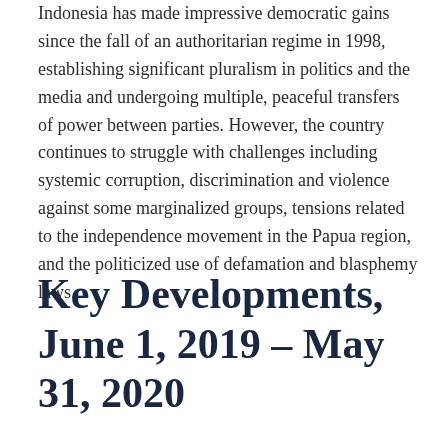Indonesia has made impressive democratic gains since the fall of an authoritarian regime in 1998, establishing significant pluralism in politics and the media and undergoing multiple, peaceful transfers of power between parties. However, the country continues to struggle with challenges including systemic corruption, discrimination and violence against some marginalized groups, tensions related to the independence movement in the Papua region, and the politicized use of defamation and blasphemy laws.
Key Developments, June 1, 2019 – May 31, 2020